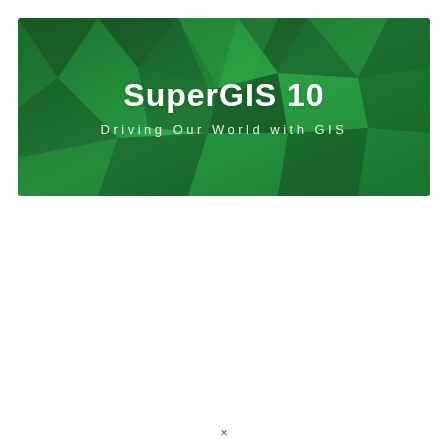[Figure (illustration): Green geometric polygon/low-poly patterned banner background with title 'SuperGIS 10' and subtitle 'Driving Our World with GIS']
SuperGIS 10
Driving Our World with GIS